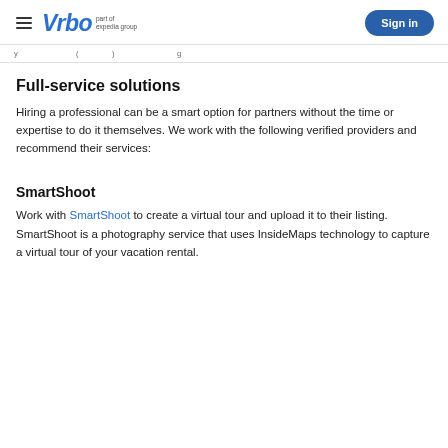Vrbo part of expedia group | Sign in
y ... ( ... ) ... g ...
Full-service solutions
Hiring a professional can be a smart option for partners without the time or expertise to do it themselves. We work with the following verified providers and recommend their services:
SmartShoot
Work with SmartShoot to create a virtual tour and upload it to their listing. SmartShoot is a photography service that uses InsideMaps technology to capture a virtual tour of your vacation rental.